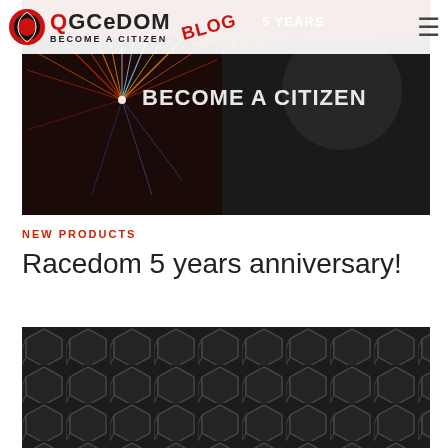Racedom — BECOME A CITIZEN — BLOG
[Figure (photo): Hero banner photo showing fireworks against dark background with text 'BECOME A CITIZEN' and '5 YEARS ANNIVERSARY' overlaid]
NEW PRODUCTS
Racedom 5 years anniversary!
[Figure (photo): Dark background with hexagonal grid pattern (carbon fiber / mesh texture), partially showing a product at the bottom]